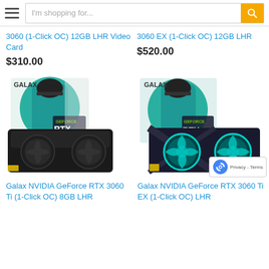I'm shopping for...
3060 (1-Click OC) 12GB LHR Video Card
$310.00
3060 EX (1-Click OC) 12GB LHR
$520.00
[Figure (photo): Galax NVIDIA GeForce RTX 3060 Ti GPU with box showing GALAX brand and GeForce RTX logo, dual black fans]
[Figure (photo): Galax NVIDIA GeForce RTX 3060 Ti EX GPU with box showing GALAX brand and GeForce RTX logo, dual teal/cyan RGB fans]
Galax NVIDIA GeForce RTX 3060 Ti (1-Click OC) 8GB LHR
Galax NVIDIA GeForce RTX 3060 Ti EX (1-Click OC) LHR